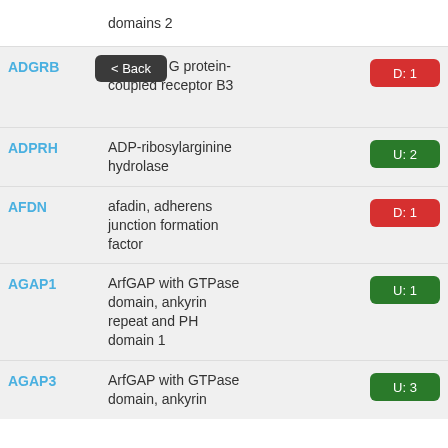domains 2
ADGRB — adhesion G protein-coupled receptor B3 — D: 1
ADPRH — ADP-ribosylarginine hydrolase — U: 2
AFDN — afadin, adherens junction formation factor — D: 1
AGAP1 — ArfGAP with GTPase domain, ankyrin repeat and PH domain 1 — U: 1
AGAP3 — ArfGAP with GTPase domain, ankyrin — U: 3